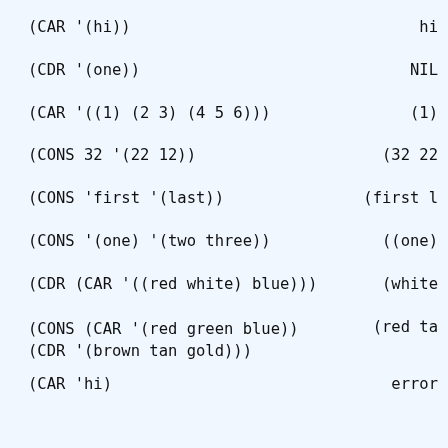(CAR '(hi))    hi
(CDR '(one))    NIL
(CAR '((1) (2 3) (4 5 6)))    (1)
(CONS 32 '(22 12))    (32 22...
(CONS 'first '(last))    (first l...
(CONS '(one) '(two three))    ((one)...
(CDR (CAR '((red white) blue)))    (white...
(CONS (CAR '(red green blue)) (CDR '(brown tan gold)))    (red ta...
(CAR 'hi)    error